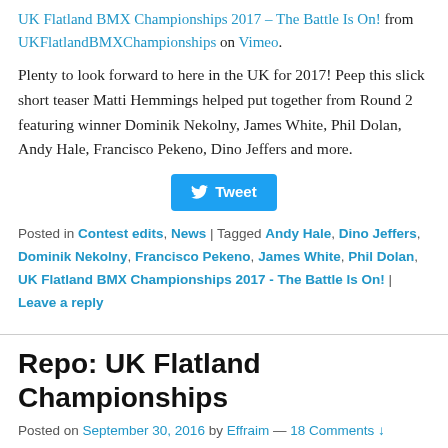UK Flatland BMX Championships 2017 – The Battle Is On! from UKFlatlandBMXChampionships on Vimeo.
Plenty to look forward to here in the UK for 2017! Peep this slick short teaser Matti Hemmings helped put together from Round 2 featuring winner Dominik Nekolny, James White, Phil Dolan, Andy Hale, Francisco Pekeno, Dino Jeffers and more.
Tweet
Posted in Contest edits, News | Tagged Andy Hale, Dino Jeffers, Dominik Nekolny, Francisco Pekeno, James White, Phil Dolan, UK Flatland BMX Championships 2017 - The Battle Is On! | Leave a reply
Repo: UK Flatland Championships
Posted on September 30, 2016 by Effraim — 18 Comments ↓
[Figure (photo): Crowd photo from UK Flatland Championships event, showing spectators gathered around an indoor BMX event area with a banner visible in the background.]